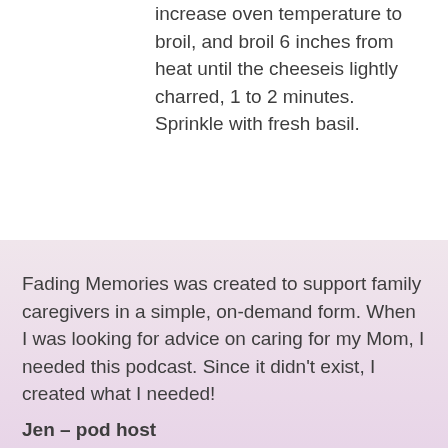increase oven temperature to broil, and broil 6 inches from heat until the cheeseis lightly charred, 1 to 2 minutes. Sprinkle with fresh basil.
Fading Memories was created to support family caregivers in a simple, on-demand form. When I was looking for advice on caring for my Mom, I needed this podcast. Since it didn't exist, I created what I needed!
Jen – pod host